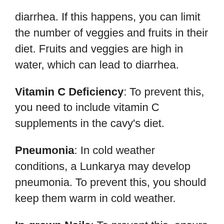diarrhea. If this happens, you can limit the number of veggies and fruits in their diet. Fruits and veggies are high in water, which can lead to diarrhea.
Vitamin C Deficiency: To prevent this, you need to include vitamin C supplements in the cavy's diet.
Pneumonia: In cold weather conditions, a Lunkarya may develop pneumonia. To prevent this, you should keep them warm in cold weather.
In-grown Nails: To prevent this, ensure you trim the nails of your pet Lunkarya